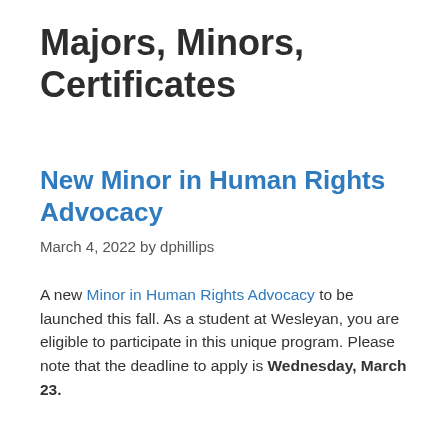Majors, Minors, Certificates
New Minor in Human Rights Advocacy
March 4, 2022 by dphillips
A new Minor in Human Rights Advocacy to be launched this fall. As a student at Wesleyan, you are eligible to participate in this unique program. Please note that the deadline to apply is Wednesday, March 23.